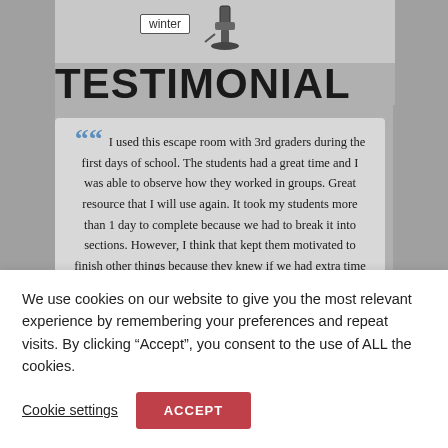[Figure (illustration): Top banner area showing educational escape room materials including worksheet pages and illustrations. Contains a 'winter' label and decorative drawing of a microscope/science item. Gray background with lighter central panel.]
TESTIMONIAL
“ I used this escape room with 3rd graders during the first days of school. The students had a great time and I was able to observe how they worked in groups. Great resource that I will use again. It took my students more than 1 day to complete because we had to break it into sections. However, I think that kept them motivated to finish other things because they knew if we had extra time they could work on the puzzles.
We use cookies on our website to give you the most relevant experience by remembering your preferences and repeat visits. By clicking “Accept”, you consent to the use of ALL the cookies.
Cookie settings
ACCEPT